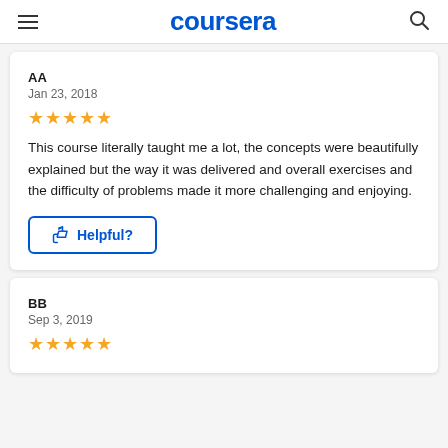coursera
AA
Jan 23, 2018
★★★★★
This course literally taught me a lot, the concepts were beautifully explained but the way it was delivered and overall exercises and the difficulty of problems made it more challenging and enjoying.
Helpful?
BB
Sep 3, 2019
★★★★★